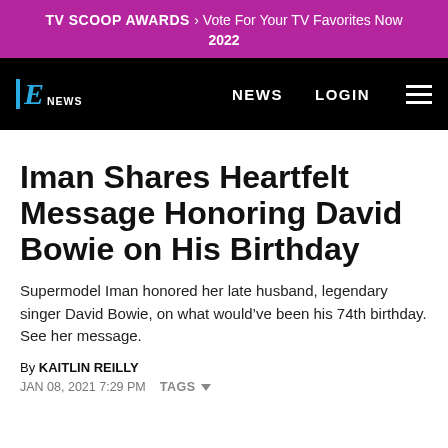TV SCOOP AWARDS > Vote For Your TV Favorites Now 2022
[Figure (logo): E! News logo and navigation bar with NEWS and LOGIN links and hamburger menu]
Iman Shares Heartfelt Message Honoring David Bowie on His Birthday
Supermodel Iman honored her late husband, legendary singer David Bowie, on what would've been his 74th birthday. See her message.
By KAITLIN REILLY
JAN 08, 2021 7:29 PM  TAGS